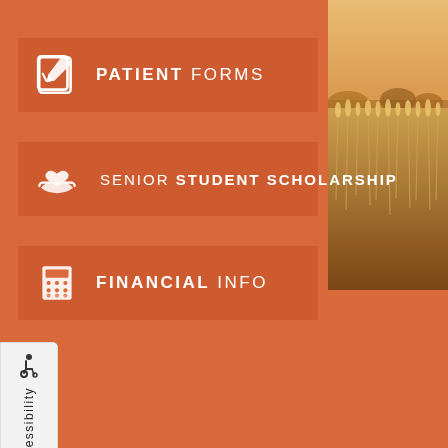[Figure (screenshot): Orange/terracotta background with wheat field photo in top-right corner, serving as the page background for a navigation menu]
PATIENT FORMS
SENIOR STUDENT SCHOLARSHIP
FINANCIAL INFO
Accessibility